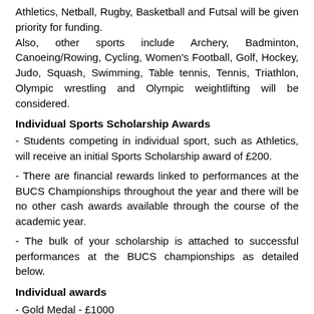Athletics, Netball, Rugby, Basketball and Futsal will be given priority for funding.
Also, other sports include Archery, Badminton, Canoeing/Rowing, Cycling, Women's Football, Golf, Hockey, Judo, Squash, Swimming, Table tennis, Tennis, Triathlon, Olympic wrestling and Olympic weightlifting will be considered.
Individual Sports Scholarship Awards
- Students competing in individual sport, such as Athletics, will receive an initial Sports Scholarship award of £200.
- There are financial rewards linked to performances at the BUCS Championships throughout the year and there will be no other cash awards available through the course of the academic year.
- The bulk of your scholarship is attached to successful performances at the BUCS championships as detailed below.
Individual awards
- Gold Medal - £1000
- Silver Medal - £750
- Bronze Medal - £500
Note: There is a financial reward cap of £3,000 for all BUCS